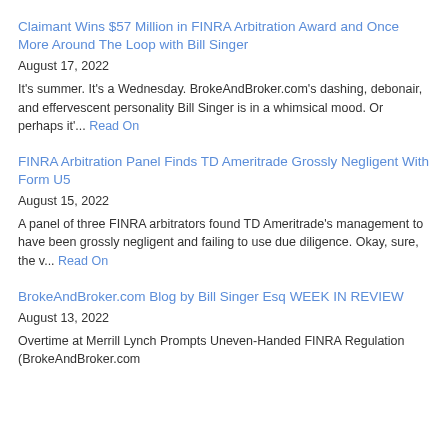Claimant Wins $57 Million in FINRA Arbitration Award and Once More Around The Loop with Bill Singer
August 17, 2022
It's summer. It's a Wednesday. BrokeAndBroker.com's dashing, debonair, and effervescent personality Bill Singer is in a whimsical mood. Or perhaps it'... Read On
FINRA Arbitration Panel Finds TD Ameritrade Grossly Negligent With Form U5
August 15, 2022
A panel of three FINRA arbitrators found TD Ameritrade's management to have been grossly negligent and failing to use due diligence. Okay, sure, the v... Read On
BrokeAndBroker.com Blog by Bill Singer Esq WEEK IN REVIEW
August 13, 2022
Overtime at Merrill Lynch Prompts Uneven-Handed FINRA Regulation (BrokeAndBroker.com